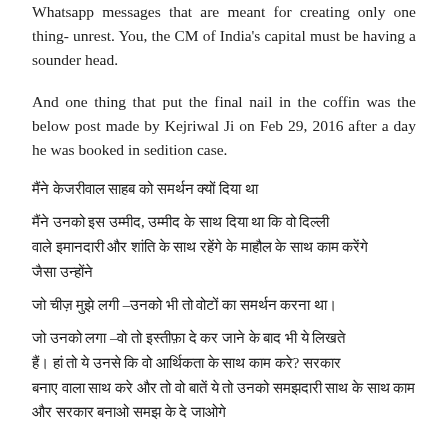Whatsapp messages that are meant for creating only one thing- unrest. You, the CM of India's capital must be having a sounder head.
And one thing that put the final nail in the coffin was the below post made by Kejriwal Ji on Feb 29, 2016 after a day he was booked in sedition case.
[Hindi text - multiple paragraphs in Devanagari script]